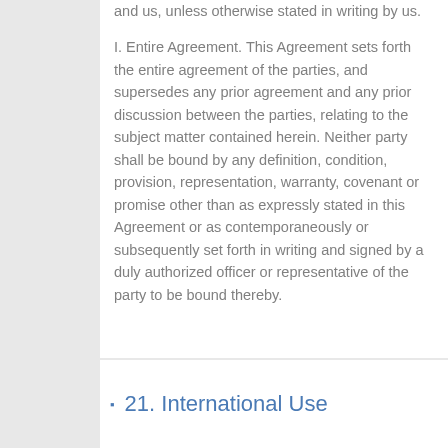and us, unless otherwise stated in writing by us.

I. Entire Agreement. This Agreement sets forth the entire agreement of the parties, and supersedes any prior agreement and any prior discussion between the parties, relating to the subject matter contained herein. Neither party shall be bound by any definition, condition, provision, representation, warranty, covenant or promise other than as expressly stated in this Agreement or as contemporaneously or subsequently set forth in writing and signed by a duly authorized officer or representative of the party to be bound thereby.
21. International Use